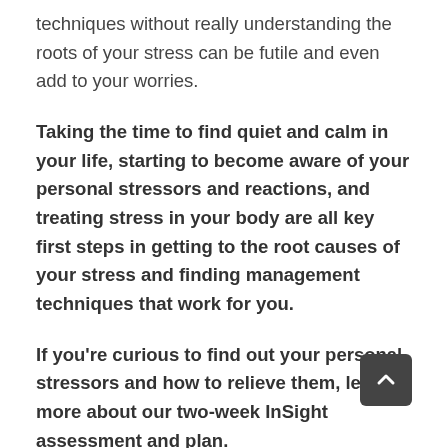techniques without really understanding the roots of your stress can be futile and even add to your worries.
Taking the time to find quiet and calm in your life, starting to become aware of your personal stressors and reactions, and treating stress in your body are all key first steps in getting to the root causes of your stress and finding management techniques that work for you.
If you're curious to find out your personal stressors and how to relieve them, learn more about our two-week InSight assessment and plan.